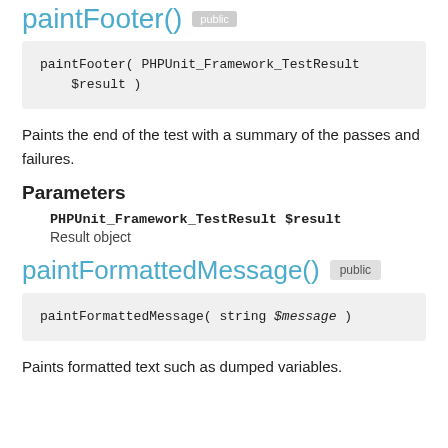paintFooter()  public
paintFooter( PHPUnit_Framework_TestResult $result )
Paints the end of the test with a summary of the passes and failures.
Parameters
PHPUnit_Framework_TestResult $result
Result object
paintFormattedMessage()  public
paintFormattedMessage( string $message )
Paints formatted text such as dumped variables.